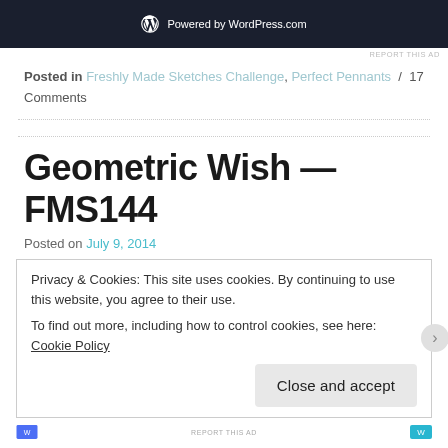[Figure (screenshot): WordPress.com powered banner — dark navy background with WordPress logo and 'Powered by WordPress.com' text in white]
REPORT THIS AD
Posted in Freshly Made Sketches Challenge, Perfect Pennants / 17 Comments
Geometric Wish — FMS144
Posted on July 9, 2014
Privacy & Cookies: This site uses cookies. By continuing to use this website, you agree to their use.
To find out more, including how to control cookies, see here: Cookie Policy
Close and accept